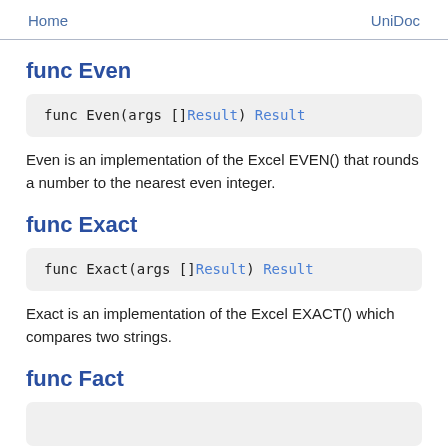Home    UniDoc
func Even
Even is an implementation of the Excel EVEN() that rounds a number to the nearest even integer.
func Exact
Exact is an implementation of the Excel EXACT() which compares two strings.
func Fact